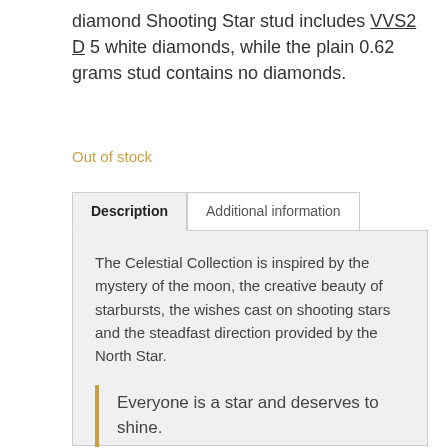diamond Shooting Star stud includes VVS2 D 5 white diamonds, while the plain 0.62 grams stud contains no diamonds.
Out of stock
Description | Additional information
The Celestial Collection is inspired by the mystery of the moon, the creative beauty of starbursts, the wishes cast on shooting stars and the steadfast direction provided by the North Star.
Everyone is a star and deserves to shine.